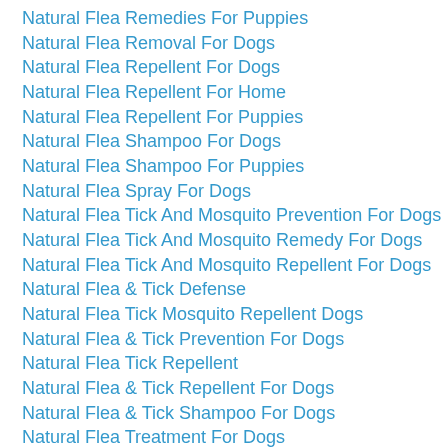Natural Flea Remedies For Puppies
Natural Flea Removal For Dogs
Natural Flea Repellent For Dogs
Natural Flea Repellent For Home
Natural Flea Repellent For Puppies
Natural Flea Shampoo For Dogs
Natural Flea Shampoo For Puppies
Natural Flea Spray For Dogs
Natural Flea Tick And Mosquito Prevention For Dogs
Natural Flea Tick And Mosquito Remedy For Dogs
Natural Flea Tick And Mosquito Repellent For Dogs
Natural Flea & Tick Defense
Natural Flea Tick Mosquito Repellent Dogs
Natural Flea & Tick Prevention For Dogs
Natural Flea Tick Repellent
Natural Flea & Tick Repellent For Dogs
Natural Flea & Tick Shampoo For Dogs
Natural Flea Treatment For Dogs
Natural Flea Treatment For Puppies
Natural Fly Repellent For Dogs